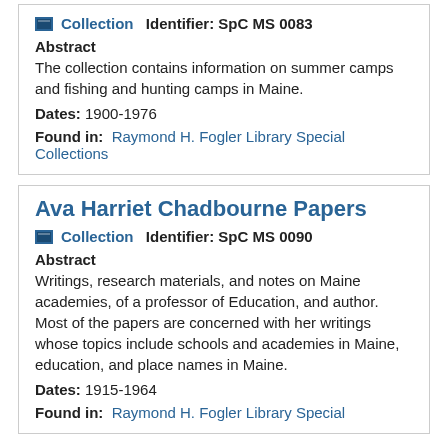Collection  Identifier: SpC MS 0083
Abstract
The collection contains information on summer camps and fishing and hunting camps in Maine.
Dates: 1900-1976
Found in: Raymond H. Fogler Library Special Collections
Ava Harriet Chadbourne Papers
Collection  Identifier: SpC MS 0090
Abstract
Writings, research materials, and notes on Maine academies, of a professor of Education, and author. Most of the papers are concerned with her writings whose topics include schools and academies in Maine, education, and place names in Maine.
Dates: 1915-1964
Found in: Raymond H. Fogler Library Special